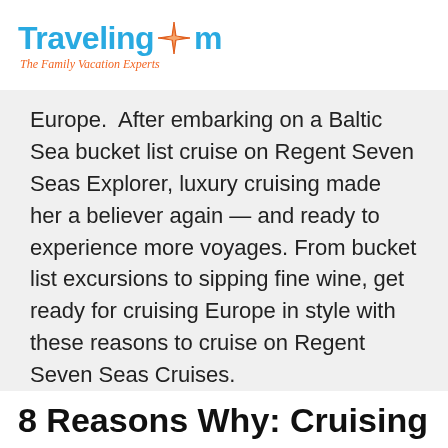TravelingMom — The Family Vacation Experts
Europe. After embarking on a Baltic Sea bucket list cruise on Regent Seven Seas Explorer, luxury cruising made her a believer again — and ready to experience more voyages. From bucket list excursions to sipping fine wine, get ready for cruising Europe in style with these reasons to cruise on Regent Seven Seas Cruises.
8 Reasons Why: Cruising